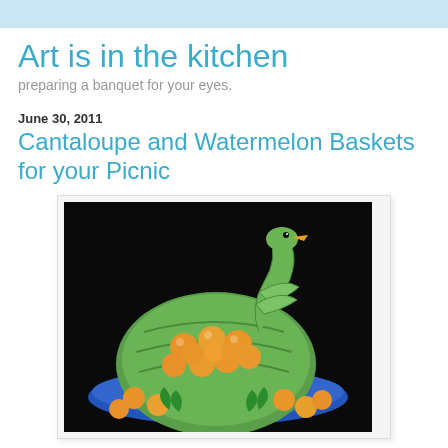Art is in the kitchen
preparing a banquet for your eyes.
June 30, 2011
Cantaloupe and Watermelon Baskets for your Picnic
[Figure (photo): A watermelon carved into a swan shape sitting on a blue plate, filled with cantaloupe melon balls, with additional melon balls and green garnish around the base.]
Here are some extra baskets to take with you on your next